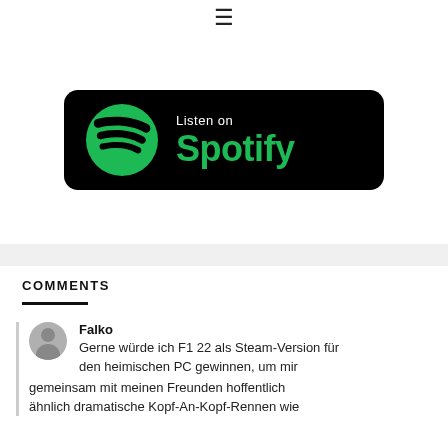≡
[Figure (logo): Listen on Spotify badge — black rounded rectangle with green Spotify logo on left and 'Listen on Spotify' text in white/green on right]
COMMENTS
Falko
Gerne würde ich F1 22 als Steam-Version für den heimischen PC gewinnen, um mir gemeinsam mit meinen Freunden hoffentlich ähnlich dramatische Kopf-An-Kopf-Rennen wie